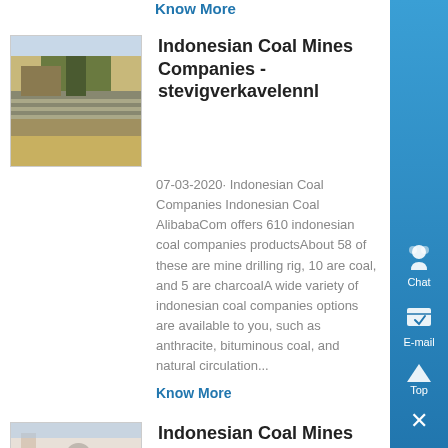Know More
Indonesian Coal Mines Companies - stevigverkavelennl
07-03-2020· Indonesian Coal Companies Indonesian Coal AlibabaCom offers 610 indonesian coal companies productsAbout 58 of these are mine drilling rig, 10 are coal, and 5 are charcoalA wide variety of indonesian coal companies options are available to you, such as anthracite, bituminous coal, and natural circulation...
Know More
Indonesian Coal Mines Companies - stevigverkavelennl